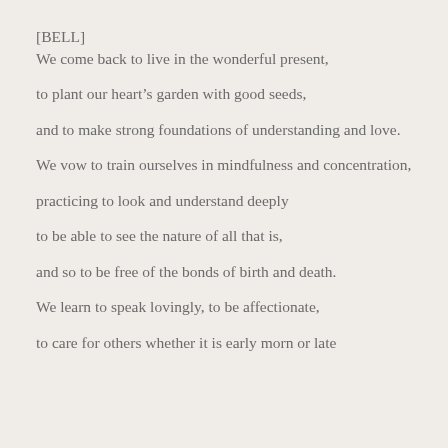[BELL]
We come back to live in the wonderful present,
to plant our heart's garden with good seeds,
and to make strong foundations of understanding and love.
We vow to train ourselves in mindfulness and concentration,
practicing to look and understand deeply
to be able to see the nature of all that is,
and so to be free of the bonds of birth and death.
We learn to speak lovingly, to be affectionate,
to care for others whether it is early morn or late